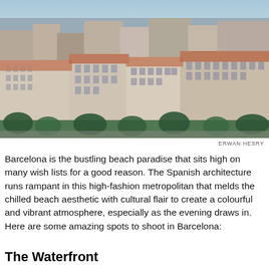[Figure (photo): Aerial view of Barcelona cityscape showing densely packed buildings with orange-red rooftops, ornate Spanish architecture facades, and green trees lining the streets below.]
ERWAN HESRY
Barcelona is the bustling beach paradise that sits high on many wish lists for a good reason. The Spanish architecture runs rampant in this high-fashion metropolitan that melds the chilled beach aesthetic with cultural flair to create a colourful and vibrant atmosphere, especially as the evening draws in. Here are some amazing spots to shoot in Barcelona:
The Waterfront